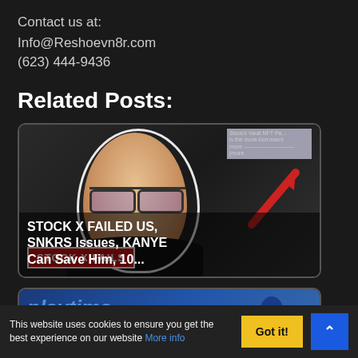Contact us at:
Info@Reshoevn8r.com
(623) 444-9436
Related Posts:
[Figure (photo): Thumbnail image for post: STOCK X FAILED US, SNKRS Issues, KANYE STOCK X FAILS Can Save Him, 10... Shows a man with glasses and a red arrow graphic with Stock X Fails banner overlay.]
[Figure (photo): Thumbnail image partially visible, showing 'playtime' text and a character/logo in blue tones.]
This website uses cookies to ensure you get the best experience on our website More info